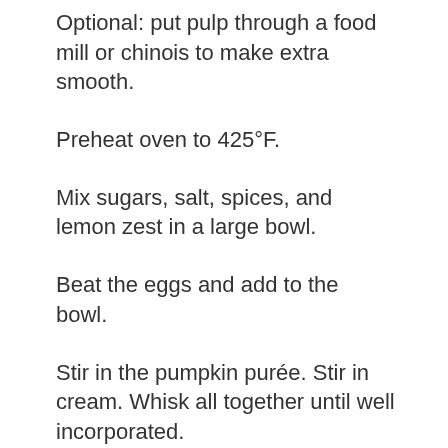Optional: put pulp through a food mill or chinois to make extra smooth.
Preheat oven to 425°F.
Mix sugars, salt, spices, and lemon zest in a large bowl.
Beat the eggs and add to the bowl.
Stir in the pumpkin purée. Stir in cream. Whisk all together until well incorporated.
Pour into pie shell and bake at 425°F for 15 minutes.